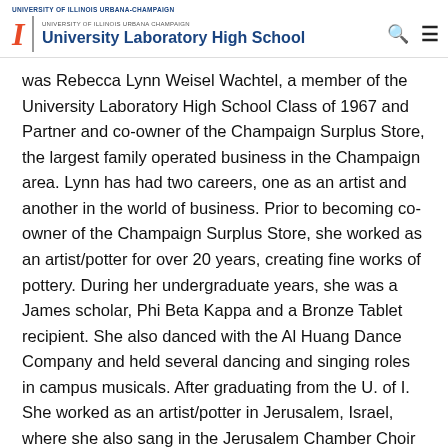UNIVERSITY OF ILLINOIS URBANA-CHAMPAIGN | UNIVERSITY OF ILLINOIS URBANA CHAMPAIGN | University Laboratory High School
was Rebecca Lynn Weisel Wachtel, a member of the University Laboratory High School Class of 1967 and Partner and co-owner of the Champaign Surplus Store, the largest family operated business in the Champaign area. Lynn has had two careers, one as an artist and another in the world of business. Prior to becoming co-owner of the Champaign Surplus Store, she worked as an artist/potter for over 20 years, creating fine works of pottery. During her undergraduate years, she was a James scholar, Phi Beta Kappa and a Bronze Tablet recipient. She also danced with the Al Huang Dance Company and held several dancing and singing roles in campus musicals. After graduating from the U. of I. She worked as an artist/potter in Jerusalem, Israel, where she also sang in the Jerusalem Chamber Choir directed by Avner Itai. Returning in 1976 to complete her Masters of Education degree from the U. of I.